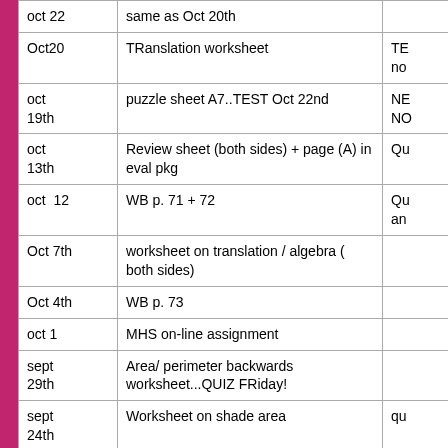| Date | Assignment | Notes |
| --- | --- | --- |
| oct 22 | same as Oct 20th |  |
| Oct20 | TRanslation worksheet | TE
no |
| oct 19th | puzzle sheet A7..TEST Oct 22nd | NE
NO |
| oct 13th | Review sheet (both sides) + page (A) in eval pkg | Qu |
| oct  12 | WB p. 71 + 72 | Qu
an |
| Oct 7th | worksheet on translation / algebra ( both sides) |  |
| Oct 4th | WB p. 73 |  |
| oct 1 | MHS on-line assignment |  |
| sept 29th | Area/ perimeter backwards worksheet...QUIZ FRiday! |  |
| sept 24th | Worksheet on shade area | qu |
| sept 23rd | worksheet perim/ area (both sides) |  |
| sept 21 | review PKG A page A3 /A4/ A6/ A8 ....quiz Thursday! |  |
| sept | PKG (A) page A8...finish it! | Qu |